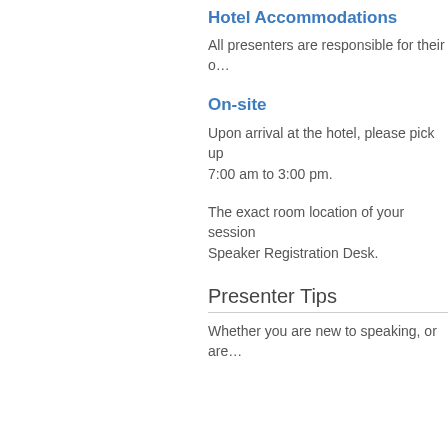Hotel Accommodations
All presenters are responsible for their o...
On-site
Upon arrival at the hotel, please pick up... 7:00 am to 3:00 pm.
The exact room location of your session... Speaker Registration Desk.
Presenter Tips
Whether you are new to speaking, or are...